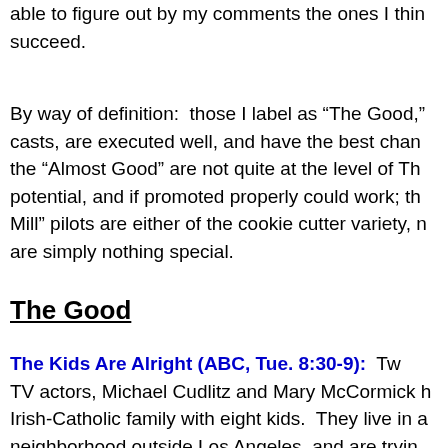able to figure out by my comments the ones I think will succeed.
By way of definition: those I label as “The Good,” casts, are executed well, and have the best chance; the “Almost Good” are not quite at the level of The Good but have potential, and if promoted properly could work; the “Run of the Mill” pilots are either of the cookie cutter variety, mediocre, or are simply nothing special.
The Good
The Kids Are Alright (ABC, Tue. 8:30-9): Two TV actors, Michael Cudlitz and Mary McCormick have an Irish-Catholic family with eight kids. They live in a neighborhood outside Los Angeles, and are trying